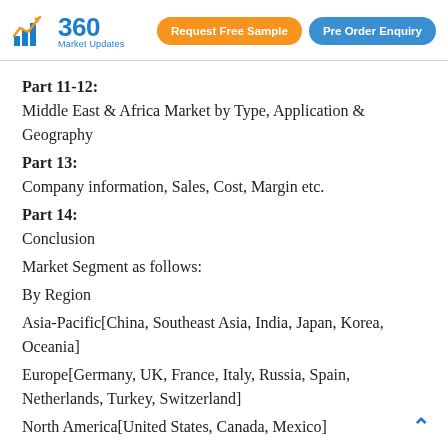360 Market Updates | Request Free Sample | Pre Order Enquiry
Part 11-12:
Middle East & Africa Market by Type, Application & Geography
Part 13:
Company information, Sales, Cost, Margin etc.
Part 14:
Conclusion
Market Segment as follows:
By Region
Asia-Pacific[China, Southeast Asia, India, Japan, Korea, Oceania]
Europe[Germany, UK, France, Italy, Russia, Spain, Netherlands, Turkey, Switzerland]
North America[United States, Canada, Mexico]